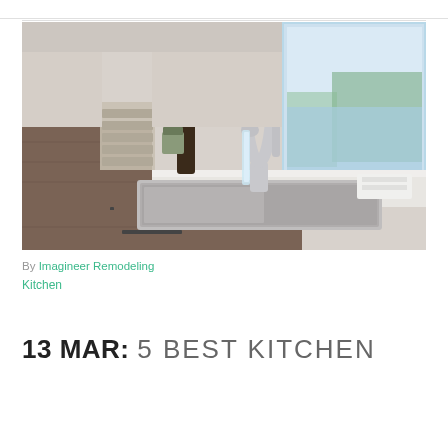[Figure (photo): Photo of a modern kitchen sink with a chrome pull-down faucet running water, white countertop, wood-grain cabinetry, and a window view of trees and water in the background.]
By Imagineer Remodeling
Kitchen
13 MAR: 5 BEST KITCHEN